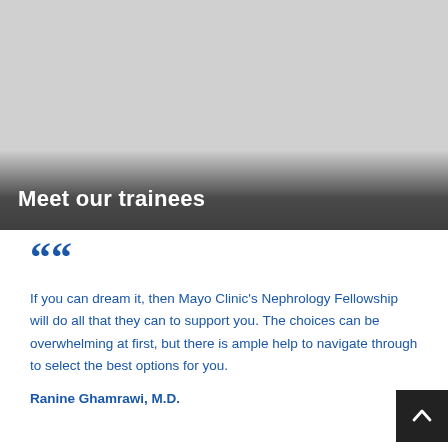[Figure (photo): Hero image with gray background and dark gradient overlay at bottom, showing 'Meet our trainees' text overlay]
Meet our trainees
“If you can dream it, then Mayo Clinic’s Nephrology Fellowship will do all that they can to support you. The choices can be overwhelming at first, but there is ample help to navigate through to select the best options for you.
Ranine Ghamrawi, M.D.